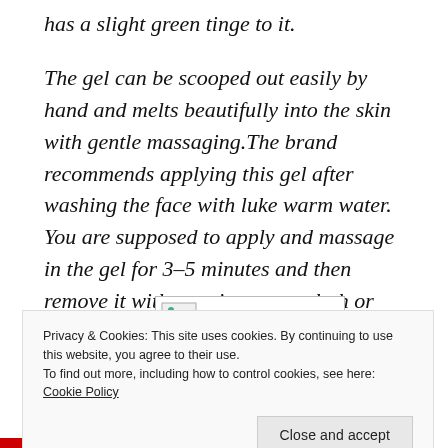has a slight green tinge to it.
The gel can be scooped out easily by hand and melts beautifully into the skin with gentle massaging.The brand recommends applying this gel after washing the face with luke warm water. You are supposed to apply and massage in the gel for 3-5 minutes and then remove it with a moist cotton cloth or just rinse it off with water.
[Figure (photo): Broken image placeholder]
Privacy & Cookies: This site uses cookies. By continuing to use this website, you agree to their use.
To find out more, including how to control cookies, see here: Cookie Policy
Close and accept